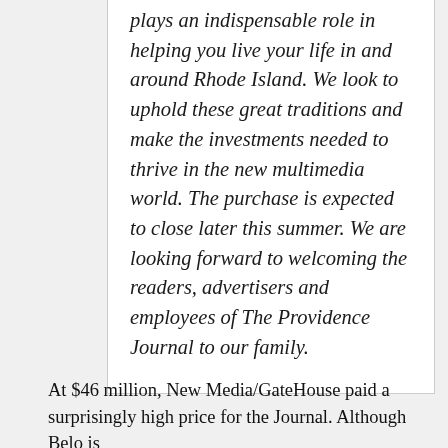plays an indispensable role in helping you live your life in and around Rhode Island. We look to uphold these great traditions and make the investments needed to thrive in the new multimedia world. The purchase is expected to close later this summer. We are looking forward to welcoming the readers, advertisers and employees of The Providence Journal to our family.
At $46 million, New Media/GateHouse paid a surprisingly high price for the Journal. Although Belo is